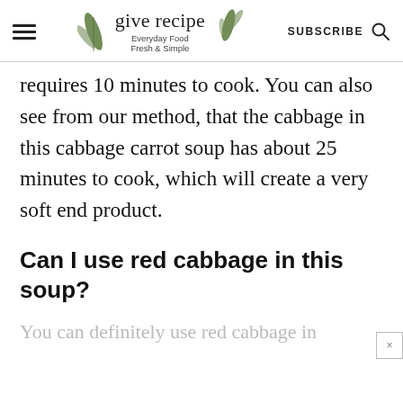give recipe | Everyday Food Fresh & Simple | SUBSCRIBE
requires 10 minutes to cook. You can also see from our method, that the cabbage in this cabbage carrot soup has about 25 minutes to cook, which will create a very soft end product.
Can I use red cabbage in this soup?
You can definitely use red cabbage in